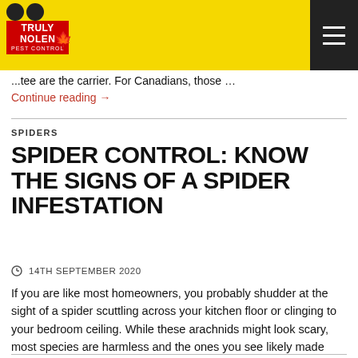Truly Nolen Pest Control
...tee are the carrier. For Canadians, those ...
Continue reading →
SPIDERS
SPIDER CONTROL: KNOW THE SIGNS OF A SPIDER INFESTATION
14TH SEPTEMBER 2020
If you are like most homeowners, you probably shudder at the sight of a spider scuttling across your kitchen floor or clinging to your bedroom ceiling. While these arachnids might look scary, most species are harmless and the ones you see likely made their way indoors by accident. Chances are, there are certain stuff such … Continue reading →